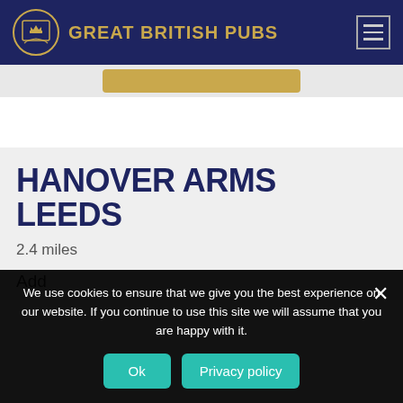GREAT BRITISH PUBS
HANOVER ARMS LEEDS
2.4 miles
Add
We use cookies to ensure that we give you the best experience on our website. If you continue to use this site we will assume that you are happy with it.